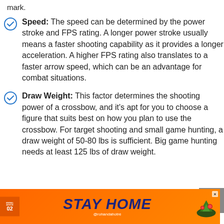mark.
Speed: The speed can be determined by the power stroke and FPS rating. A longer power stroke usually means a faster shooting capability as it provides a longer acceleration. A higher FPS rating also translates to a faster arrow speed, which can be an advantage for combat situations.
Draw Weight: This factor determines the shooting power of a crossbow, and it’s apt for you to choose a figure that suits best on how you plan to use the crossbow. For target shooting and small game hunting, a draw weight of 50-80 lbs is sufficient. Big game hunting needs at least 125 lbs of draw weight.
[Figure (photo): Photo of what appears to be a crossbow limb or archery equipment against a dark background]
[Figure (infographic): Advertisement banner: Animal Advice 02 - STAY HOME - @rohandahotre]